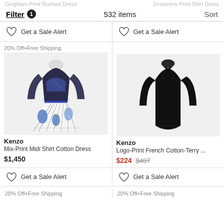Gingham-Print Ruched Dress | Dreamers Print Shirt Dress
Filter 1   532 items   Sort
Get a Sale Alert | Get a Sale Alert
[Figure (photo): Kenzo Mix-Print Midi Shirt Cotton Dress - blue and black patterned dress with 20% Off+Free Shipping promo]
[Figure (photo): Kenzo Logo-Print French Cotton-Terry dress - black long-sleeve short dress]
Kenzo
Mix-Print Midi Shirt Cotton Dress
$1,450
Kenzo
Logo-Print French Cotton-Terry ...
$224 $487
Get a Sale Alert | Get a Sale Alert
20% Off+Free Shipping | 20% Off+Free Shipping